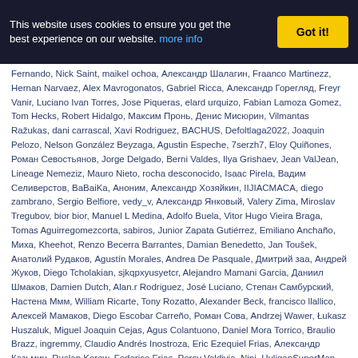This website uses cookies to ensure you get the best experience on our website. more info | Got it!
Fernando, Nick Saint, maikel ochoa, Александр Шалагин, Fraanco Martinezz, Hernan Narvaez, Alex Mavrogonatos, Gabriel Ricca, Александр Горегляд, Freyr Vanir, Luciano Ivan Torres, Jose Piqueras, elard urquizo, Fabian Lamoza Gomez, Tom Hecks, Robert Hidalgo, Максим Пронь, Денис Мисюрин, Vilmantas Ražukas, dani carrascal, Xavi Rodriguez, BACHUS, Defoltlaga2022, Joaquin Pelozo, Nelson González Beyzaga, Agustin Espeche, 7serzh7, Eloy Quiñones, Роман Севостьянов, Jorge Delgado, Berni Valdes, Ilya Grishaev, Jean ValJean, Lineage Nemeziz, Mauro Nieto, rocha desconocido, Isaac Pirela, Вадим Селиверстов, BaBaiKa, Аноним, Александр Хозяйкин, IIJIACMACA, diego zambrano, Sergio Belfiore, vedy_v, Александр Янковый, Valery Zima, Miroslav Tregubov, bior bior, Manuel L Medina, Adolfo Buela, Vitor Hugo Vieira Braga, Tomas Aguirregomezcorta, sabiros, Junior Zapata Gutiérrez, Emiliano Anchañо, Миха, Kheehot, Renzo Becerra Barrantes, Damian Benedetto, Jan Toušek, Анатолий Рудаков, Agustín Morales, Andrea De Pasquale, Дмитрий заа, Андрей Жуков, Diego Tcholakian, sjkqpxyusyetcr, Alejandro Mamani Garcia, Даниил Шмаков, Damien Dutch, Alan.r Rodriguez, José Luciano, Степан Самбурский, Настена Ммм, William Ricarte, Tony Rozatto, Alexander Beck, francisco llallico, Алексей Мамаков, Diego Escobar Carreño, Роман Сова, Andrzej Wawer, Łukasz Huszaluk, Miguel Joaquin Cejas, Agus Colantuono, Daniel Mora Torrico, Braulio Brazz, ingremmy, Claudio Andrés Inostroza, Eric Ezequiel Frias, Александр Казьмин, Ruslan Korew, Federico Frias, Percy Valdivia, Nini, HuliganSuperMan, Sergio Alejandro Rueda, Adelina Caballero, dunk3l dunk3l, vasileas, Lineage Premium, Szymon Pyka, Alejandro Pergola, sebastian oses, Ariel Yang, Gordito Crafter, Димас - Quickmen ( AV